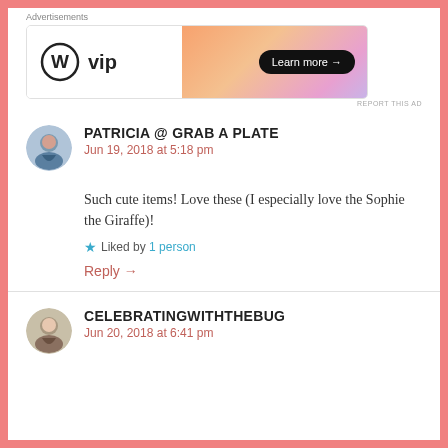[Figure (screenshot): WordPress VIP advertisement banner with orange gradient and Learn more button]
REPORT THIS AD
PATRICIA @ GRAB A PLATE
Jun 19, 2018 at 5:18 pm

Such cute items! Love these (I especially love the Sophie the Giraffe)!

Liked by 1 person

Reply →
CELEBRATINGWITHTHEBUG
Jun 20, 2018 at 6:41 pm